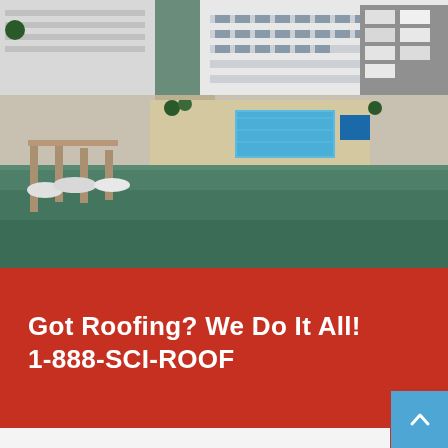[Figure (photo): Aerial view of a coastal condominium complex with flat roofs, a swimming pool, marina with boats docked, and green waterway below. White multi-story building visible in the background with parking areas.]
Got Roofing? We Do It All! 1-888-SCI-ROOF
[Figure (other): Blue scroll-to-top button with an upward-pointing caret arrow (^) in white, positioned in bottom-right corner]